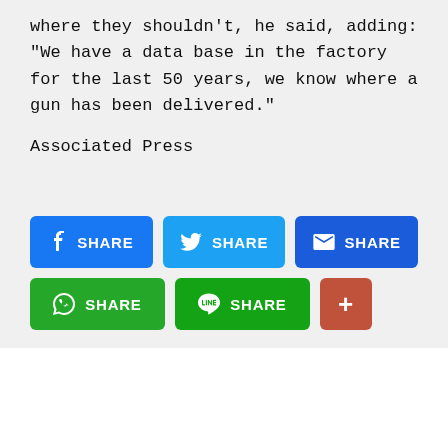where they shouldn't, he said, adding: "We have a data base in the factory for the last 50 years, we know where a gun has been delivered."
Associated Press
[Figure (infographic): Social share buttons: Facebook Share (blue), Twitter Share (light blue), Email Share (dark blue), WhatsApp Share (green), LINE Share (green), and a red/orange plus button.]